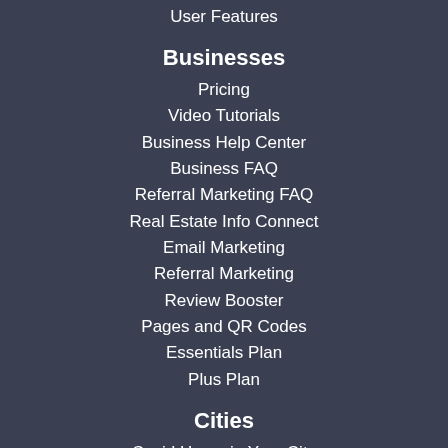User Features
Businesses
Pricing
Video Tutorials
Business Help Center
Business FAQ
Referral Marketing FAQ
Real Estate Info Connect
Email Marketing
Referral Marketing
Review Booster
Pages and QR Codes
Essentials Plan
Plus Plan
Cities
Covid Hours in Your City
Find Your City
Chicago
Dallas